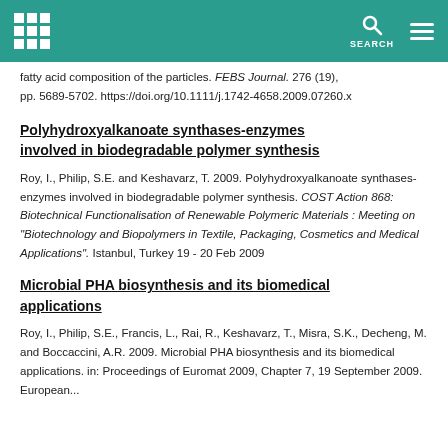SEARCH
fatty acid composition of the particles. FEBS Journal. 276 (19), pp. 5689-5702. https://doi.org/10.1111/j.1742-4658.2009.07260.x
Polyhydroxyalkanoate synthases-enzymes involved in biodegradable polymer synthesis
Roy, I., Philip, S.E. and Keshavarz, T. 2009. Polyhydroxyalkanoate synthases-enzymes involved in biodegradable polymer synthesis. COST Action 868: Biotechnical Functionalisation of Renewable Polymeric Materials : Meeting on "Biotechnology and Biopolymers in Textile, Packaging, Cosmetics and Medical Applications". Istanbul, Turkey 19 - 20 Feb 2009
Microbial PHA biosynthesis and its biomedical applications
Roy, I., Philip, S.E., Francis, L., Rai, R., Keshavarz, T., Misra, S.K., Decheng, M. and Boccaccini, A.R. 2009. Microbial PHA biosynthesis and its biomedical applications. in: Proceedings of Euromat 2009, Chapter 7, 19 September 2009.